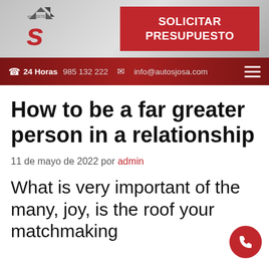[Figure (logo): Autos Josa logo with stylized S and arrow, est. 1878]
[Figure (other): Red button with text SOLICITAR PRESUPUESTO]
24 Horas 985 132 222  info@autosjosa.com
How to be a far greater person in a relationship
11 de mayo de 2022 por admin
What is very important of the many, joy, is the roof your matchmaking